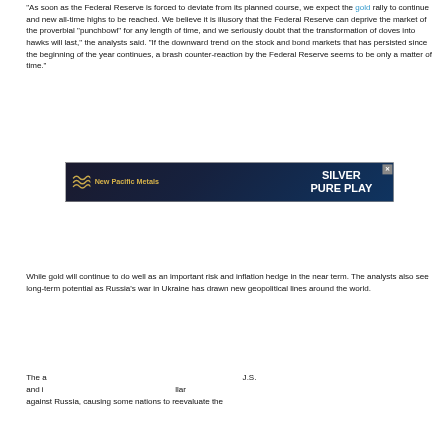"As soon as the Federal Reserve is forced to deviate from its planned course, we expect the gold rally to continue and new all-time highs to be reached. We believe it is illusory that the Federal Reserve can deprive the market of the proverbial "punchbowl" for any length of time, and we seriously doubt that the transformation of doves into hawks will last," the analysts said. "If the downward trend on the stock and bond markets that has persisted since the beginning of the year continues, a brash counter-reaction by the Federal Reserve seems to be only a matter of time."
While gold will continue to do well as an important risk and inflation hedge in the near term. The analysts also see long-term potential as Russia's war in Ukraine has drawn new geopolitical lines around the world.
The a...J.S. and i...llar against Russia, causing some nations to reevaluate the
[Figure (other): Advertisement banner for New Pacific Metals with text SILVER PURE PLAY on dark blue background with gold wave logo]